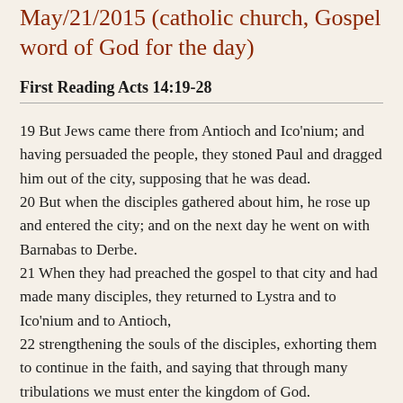May/21/2015 (catholic church, Gospel word of God for the day)
First Reading Acts 14:19-28
19 But Jews came there from Antioch and Ico'nium; and having persuaded the people, they stoned Paul and dragged him out of the city, supposing that he was dead.
20 But when the disciples gathered about him, he rose up and entered the city; and on the next day he went on with Barnabas to Derbe.
21 When they had preached the gospel to that city and had made many disciples, they returned to Lystra and to Ico'nium and to Antioch,
22 strengthening the souls of the disciples, exhorting them to continue in the faith, and saying that through many tribulations we must enter the kingdom of God.
23 And when they had appointed elders for them in every church, with prayer and fasting they committed them to the Lord in whom they believed.
24 Then they passed through Pisid'ia, and came to Pamphyl'ia.